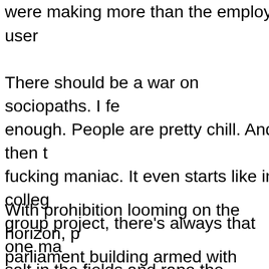were making more than the employees w user
There should be a war on sociopaths. I fe enough. People are pretty chill. And then t fucking maniac. It even starts like in colleg group project, there's always that one ma salt in the fields and rape the women and guy moves up in the corporation cause the drinking water. Fuck yeah, corner office? h
With prohibition looming on the horizon, p parliament building armed with Supersoak psychedelic mushroom spores, which they